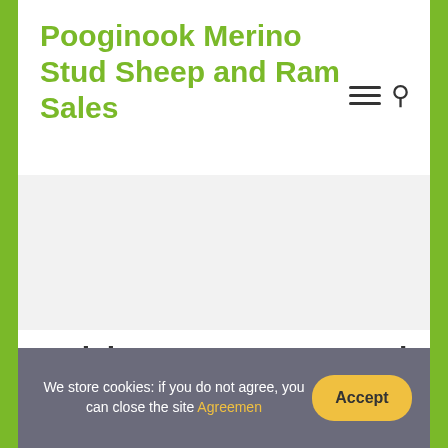Pooginook Merino Stud Sheep and Ram Sales
Quick Answer: How Good Is Do Androids Dream Of Electric Sheep?
We store cookies: if you do not agree, you can close the site Agreemen
Accept